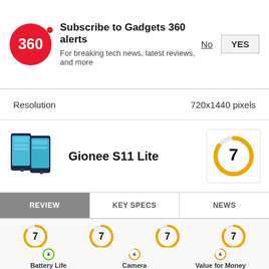Subscribe to Gadgets 360 alerts
For breaking tech news, latest reviews, and more
| Resolution | 720x1440 pixels |
| --- | --- |
Gionee S11 Lite
[Figure (infographic): Overall score donut ring showing 7/10]
REVIEW | KEY SPECS | NEWS
[Figure (infographic): Score rings: Design 7, Display 7, Software 7, Performance 7, Battery Life 8, Camera 6, Value for Money 6]
Design | Display | Software | Performance | Battery Life | Camera | Value for Money